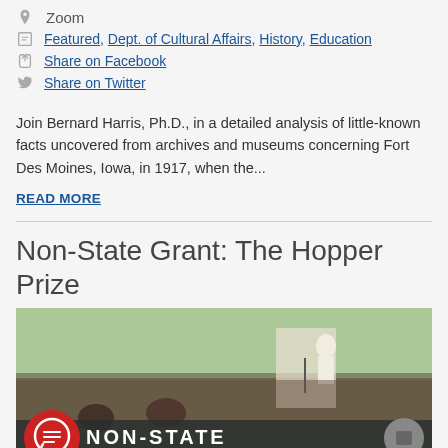Zoom
Featured, Dept. of Cultural Affairs, History, Education
Share on Facebook
Share on Twitter
Join Bernard Harris, Ph.D., in a detailed analysis of little-known facts uncovered from archives and museums concerning Fort Des Moines, Iowa, in 1917, when the...
READ MORE
Non-State Grant: The Hopper Prize
[Figure (photo): Outdoor concert scene with conductor in white jacket performing before a large crowd, with NON-STATE text overlay on bottom bar and red chat icon in lower left]